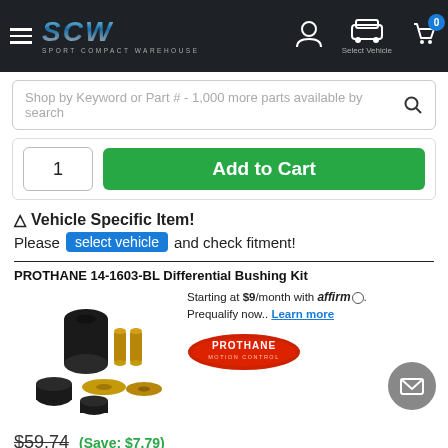SCW SPORT COMPACT WAREHOUSE — Select Vehicle — Cart (0)
Shop by Keyword or Part # - 1,000 more parts available by search
1  Add to Cart
⚠ Vehicle Specific Item!
Please select vehicle and check fitment!
PROTHANE 14-1603-BL Differential Bushing Kit
Starting at $9/month with affirm. Prequalify now.. Learn more
[Figure (photo): Prothane 14-1603-BL Differential Bushing Kit product image showing rubber bushings and brass sleeves]
[Figure (logo): Prothane Motion Control logo]
$59.74  (Save: $7.79)